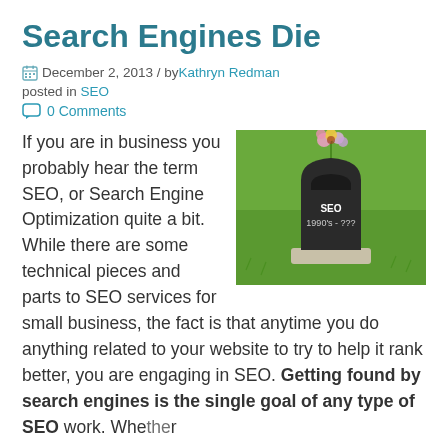Search Engines Die
December 2, 2013 / by Kathryn Redman
posted in SEO
0 Comments
[Figure (photo): A gravestone on green grass with flowers on top. The stone reads 'SEO 1990's - ???']
If you are in business you probably hear the term SEO, or Search Engine Optimization quite a bit. While there are some technical pieces and parts to SEO services for small business, the fact is that anytime you do anything related to your website to try to help it rank better, you are engaging in SEO. Getting found by search engines is the single goal of any type of SEO work. Whether...